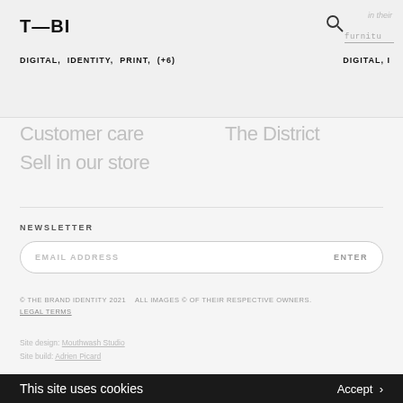T—BI
DIGITAL,  IDENTITY,  PRINT,  (+6)
DIGITAL, I
Customer care
The District
Sell in our store
NEWSLETTER
EMAIL ADDRESS    ENTER
© THE BRAND IDENTITY 2021    ALL IMAGES © OF THEIR RESPECTIVE OWNERS.
LEGAL TERMS
Site design: Mouthwash Studio
Site build: Adrien Picard
This site uses cookies    Accept >